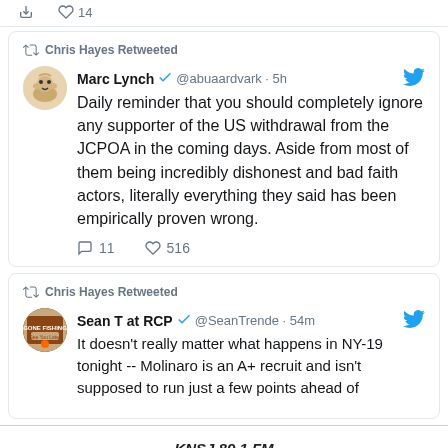Chris Hayes Retweeted
Marc Lynch @abuaardvark · 5h
Daily reminder that you should completely ignore any supporter of the US withdrawal from the JCPOA in the coming days. Aside from most of them being incredibly dishonest and bad faith actors, literally everything they said has been empirically proven wrong.
11  516
Chris Hayes Retweeted
Sean T at RCP @SeanTrende · 54m
It doesn't really matter what happens in NY-19 tonight -- Molinaro is an A+ recruit and isn't supposed to run just a few points ahead of
KNSJ 89.1 FM
Community independent radio of the people, by the people, for the people